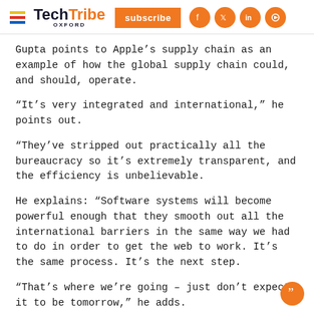TechTribe OXFORD — subscribe
Gupta points to Apple's supply chain as an example of how the global supply chain could, and should, operate.
“It’s very integrated and international,” he points out.
“They’ve stripped out practically all the bureaucracy so it’s extremely transparent, and the efficiency is unbelievable.
He explains: “Software systems will become powerful enough that they smooth out all the international barriers in the same way we had to do in order to get the web to work. It’s the same process. It’s the next step.
“That’s where we’re going – just don’t expect it to be tomorrow,” he adds.